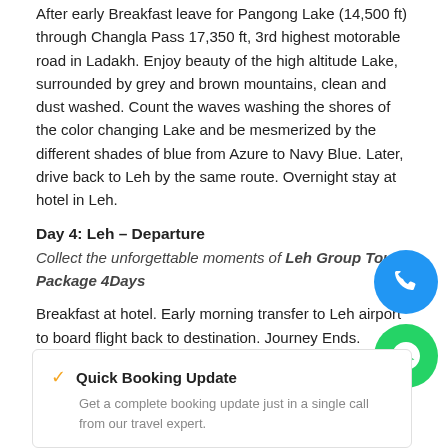After early Breakfast leave for Pangong Lake (14,500 ft) through Changla Pass 17,350 ft, 3rd highest motorable road in Ladakh. Enjoy beauty of the high altitude Lake, surrounded by grey and brown mountains, clean and dust washed. Count the waves washing the shores of the color changing Lake and be mesmerized by the different shades of blue from Azure to Navy Blue. Later, drive back to Leh by the same route. Overnight stay at hotel in Leh.
Day 4: Leh – Departure
Collect the unforgettable moments of Leh Group Tour Package 4Days
Breakfast at hotel. Early morning transfer to Leh airport to board flight back to destination. Journey Ends.
Quick Booking Update
Get a complete booking update just in a single call from our travel expert.